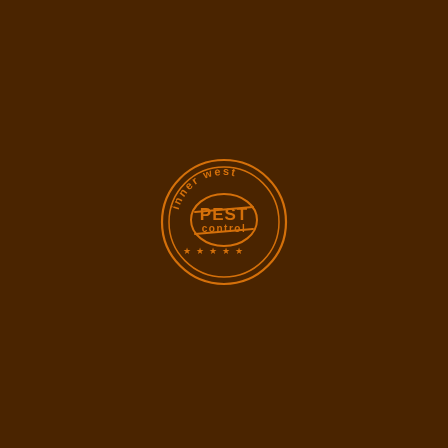[Figure (logo): Inner West Pest Control circular stamp logo in orange on dark brown background. Outer ring with text 'inner west' at top and five stars at bottom. Inner circle with 'PEST control' text in bold, flanked by diagonal lines.]